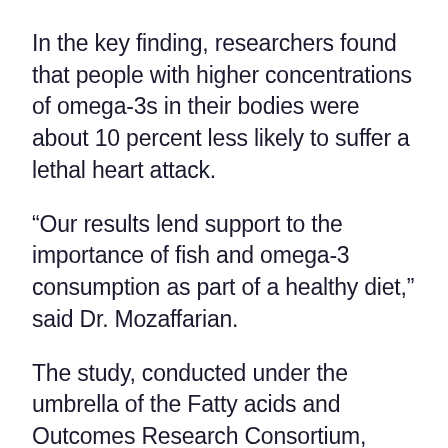In the key finding, researchers found that people with higher concentrations of omega-3s in their bodies were about 10 percent less likely to suffer a lethal heart attack.
“Our results lend support to the importance of fish and omega-3 consumption as part of a healthy diet,” said Dr. Mozaffarian.
The study, conducted under the umbrella of the Fatty acids and Outcomes Research Consortium, provided “the most comprehensive picture to date of how omega-3s may influence heart disease,” said coauthor Liana Del Gobbo, a postdoctoral research fellow at the Stanford University School of Medicine.